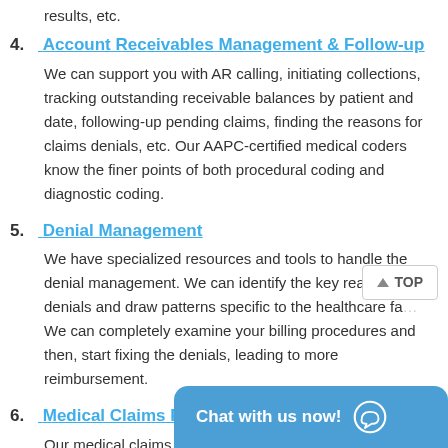results, etc.
4. Account Receivables Management & Follow-up
We can support you with AR calling, initiating collections, tracking outstanding receivable balances by patient and date, following-up pending claims, finding the reasons for claims denials, etc. Our AAPC-certified medical coders know the finer points of both procedural coding and diagnostic coding.
5. Denial Management
We have specialized resources and tools to handle the denial management. We can identify the key reasons for denials and draw patterns specific to the healthcare fa... We can completely examine your billing procedures and then, start fixing the denials, leading to more reimbursement.
6. Medical Claims Processing
Our medical claims processing services encompass a plethora of sub-services, including patient demographic entry, document scan... preparation of expla...